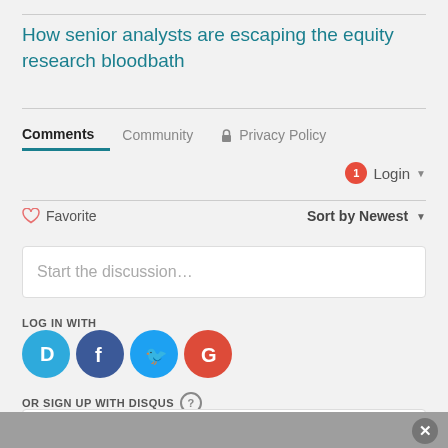How senior analysts are escaping the equity research bloodbath
Comments  Community  🔒 Privacy Policy
1  Login ▾
♡ Favorite    Sort by Newest ▾
Start the discussion...
LOG IN WITH
OR SIGN UP WITH DISQUS ?
Name